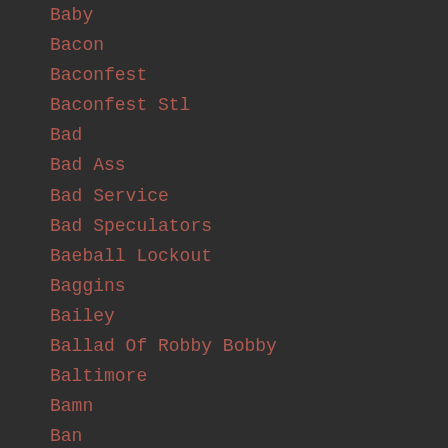Baby
Bacon
Baconfest
Baconfest Stl
Bad
Bad Ass
Bad Service
Bad Speculators
Baeball Lockout
Baggins
Bailey
Ballad Of Robby Bobby
Baltimore
Bamn
Ban
Bands
Baps
Baptism
Barack
Barack Obama
Barek Knuckling It